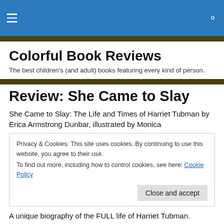Colorful Book Reviews — site header with hamburger menu and search icon
Colorful Book Reviews
The best children's (and adult) books featuring every kind of person.
Review: She Came to Slay
She Came to Slay: The Life and Times of Harriet Tubman by Erica Armstrong Dunbar, illustrated by Monica
Privacy & Cookies: This site uses cookies. By continuing to use this website, you agree to their use.
To find out more, including how to control cookies, see here: Cookie Policy
A unique biography of the FULL life of Harriet Tubman.